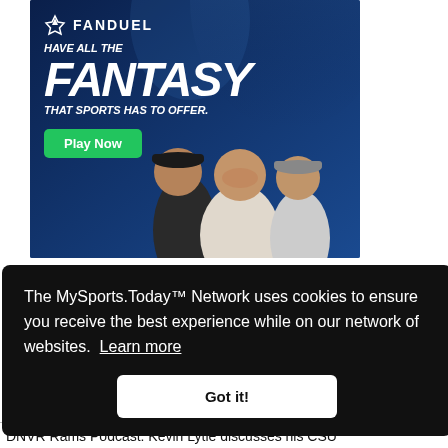[Figure (photo): FanDuel advertisement banner with blue background showing three men laughing, with text 'HAVE ALL THE FANTASY THAT SPORTS HAS TO OFFER.' and a green 'Play Now' button]
The MySports.Today™ Network uses cookies to ensure you receive the best experience while on our network of websites. Learn more
Got it!
on
DNVR Rams Podcast: Kevin Lytle discusses his CSU